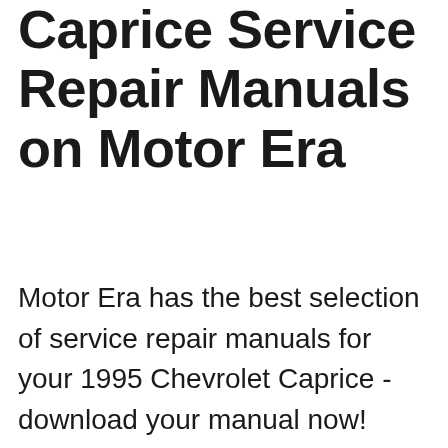Caprice Service Repair Manuals on Motor Era
Motor Era has the best selection of service repair manuals for your 1995 Chevrolet Caprice - download your manual now! Money Back Guarantee! 1995 Chevrolet Caprice service repair manuals